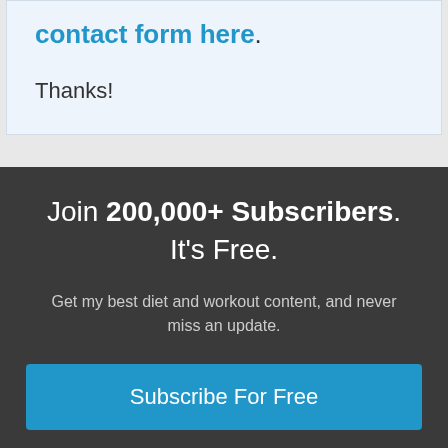contact form here.
Thanks!
Join 200,000+ Subscribers. It's Free.
Get my best diet and workout content, and never miss an update.
Subscribe For Free